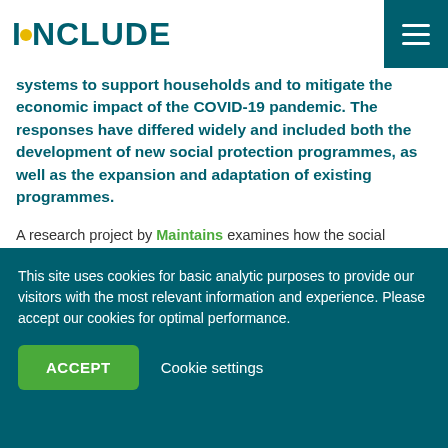INCLUDE
systems to support households and to mitigate the economic impact of the COVID-19 pandemic. The responses have differed widely and included both the development of new social protection programmes, as well as the expansion and adaptation of existing programmes.
A research project by Maintains examines how the social protection programmes, processes, and delivery systems in six developing countries have been used to respond to the COVID-
This site uses cookies for basic analytic purposes to provide our visitors with the most relevant information and experience. Please accept our cookies for optimal performance.
ACCEPT   Cookie settings